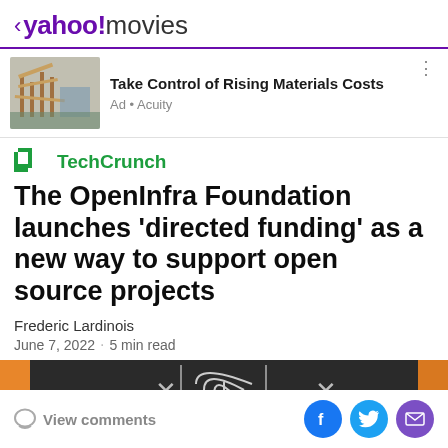< yahoo!movies
[Figure (screenshot): Advertisement banner showing a construction image with wooden framing. Ad title: Take Control of Rising Materials Costs. Ad source: Ad • Acuity]
[Figure (logo): TechCrunch logo with TC icon in green]
The OpenInfra Foundation launches 'directed funding' as a new way to support open source projects
Frederic Lardinois
June 7, 2022 · 5 min read
[Figure (photo): Bottom portion of hero image showing a dark banner with wifi/signal icons and X marks]
View comments  [Facebook] [Twitter] [Email]